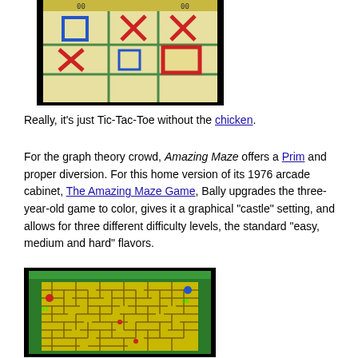[Figure (screenshot): Screenshot of a Tic-Tac-Toe game on a yellow-green background with a 3x3 grid. Blue squares and red X marks fill the cells. The bottom-right cell is highlighted with a red border square.]
Really, it's just Tic-Tac-Toe without the chicken.
For the graph theory crowd, Amazing Maze offers a Prim and proper diversion. For this home version of its 1976 arcade cabinet, The Amazing Maze Game, Bally upgrades the three-year-old game to color, gives it a graphical "castle" setting, and allows for three different difficulty levels, the standard "easy, medium and hard" flavors.
[Figure (screenshot): Screenshot of Amazing Maze game on a green background showing a complex yellow maze with a red dot (player 1, score 01) on the left and a blue dot (player 2, score 00) on the upper right.]